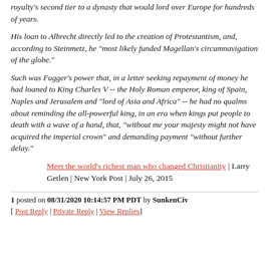royalty's second tier to a dynasty that would lord over Europe for hundreds of years.
His loan to Albrecht directly led to the creation of Protestantism, and, according to Steinmetz, he "most likely funded Magellan's circumnavigation of the globe."
Such was Fugger's power that, in a letter seeking repayment of money he had loaned to King Charles V -- the Holy Roman emperor, king of Spain, Naples and Jerusalem and "lord of Asia and Africa" -- he had no qualms about reminding the all-powerful king, in an era when kings put people to death with a wave of a hand, that, "without me your majesty might not have acquired the imperial crown" and demanding payment "without further delay."
Meet the world's richest man who changed Christianity | Larry Getlen | New York Post | July 26, 2015
1 posted on 08/31/2020 10:14:57 PM PDT by SunkenCiv
[ Post Reply | Private Reply | View Replies]